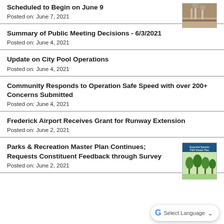Scheduled to Begin on June 9
Posted on: June 7, 2021
Summary of Public Meeting Decisions - 6/3/2021
Posted on: June 4, 2021
Update on City Pool Operations
Posted on: June 4, 2021
Community Responds to Operation Safe Speed with over 200+ Concerns Submitted
Posted on: June 4, 2021
Frederick Airport Receives Grant for Runway Extension
Posted on: June 2, 2021
Parks & Recreation Master Plan Continues; Requests Constituent Feedback through Survey
Posted on: June 2, 2021
[Figure (photo): Water tower or infrastructure photo thumbnail]
[Figure (photo): Parks & Recreation Master Plan cover thumbnail with green trees illustration]